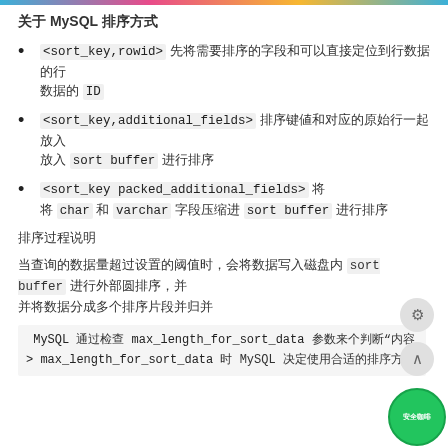MySQL 排序方式
<sort_key,rowid> 先将需要排序的字段和可以直接定位到行数据的行 ID 取出来
<sort_key,additional_fields> 排序键值和对应的原始行一起放入 sort buffer 进行排序
<sort_key packed_additional_fields> 将 char 和 varchar 字段压缩进 sort buffer 进行排序
排序过程说明
当查询的数据量超过 sort_buffer_size 时，MySQL会利用磁盘临时文件进行外部排序
MySQL 通过检查 max_length_for_sort_data 参数来确定排序方式 > max_length_for_sort_data 时 MySQL 会使用回表排序方式